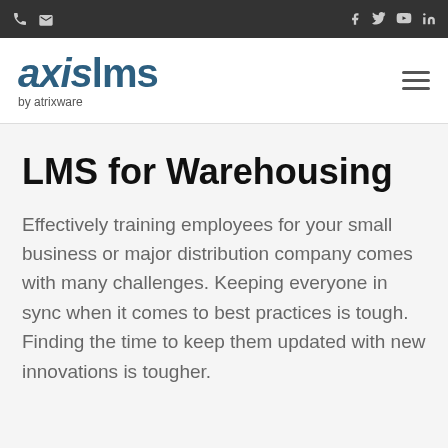axislms by atrixware
LMS for Warehousing
Effectively training employees for your small business or major distribution company comes with many challenges. Keeping everyone in sync when it comes to best practices is tough. Finding the time to keep them updated with new innovations is tougher.